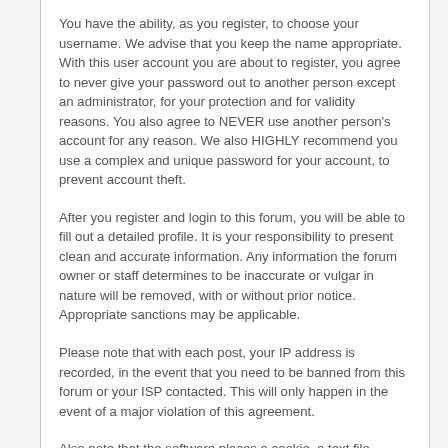You have the ability, as you register, to choose your username. We advise that you keep the name appropriate. With this user account you are about to register, you agree to never give your password out to another person except an administrator, for your protection and for validity reasons. You also agree to NEVER use another person's account for any reason. We also HIGHLY recommend you use a complex and unique password for your account, to prevent account theft.
After you register and login to this forum, you will be able to fill out a detailed profile. It is your responsibility to present clean and accurate information. Any information the forum owner or staff determines to be inaccurate or vulgar in nature will be removed, with or without prior notice. Appropriate sanctions may be applicable.
Please note that with each post, your IP address is recorded, in the event that you need to be banned from this forum or your ISP contacted. This will only happen in the event of a major violation of this agreement.
Also note that the software places a cookie, a text file